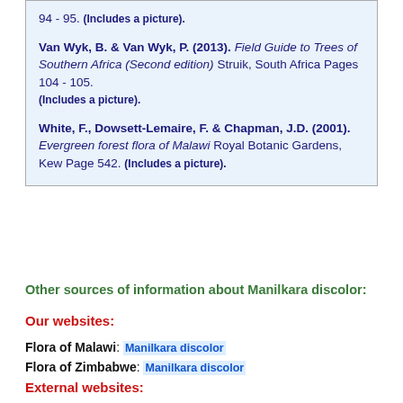94 - 95. (Includes a picture).
Van Wyk, B. & Van Wyk, P. (2013). Field Guide to Trees of Southern Africa (Second edition) Struik, South Africa Pages 104 - 105. (Includes a picture).
White, F., Dowsett-Lemaire, F. & Chapman, J.D. (2001). Evergreen forest flora of Malawi Royal Botanic Gardens, Kew Page 542. (Includes a picture).
Other sources of information about Manilkara discolor:
Our websites:
Flora of Malawi: Manilkara discolor
Flora of Zimbabwe: Manilkara discolor
External websites:
African Plants: A Photo Guide (Senckenberg): Manilkara discolor